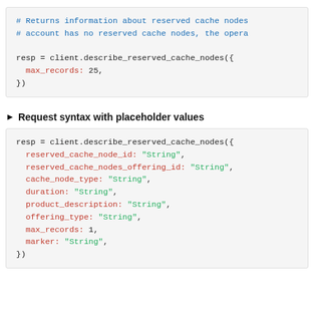# Returns information about reserved cache nodes
# account has no reserved cache nodes, the opera

resp = client.describe_reserved_cache_nodes({
  max_records: 25,
})
Request syntax with placeholder values
resp = client.describe_reserved_cache_nodes({
  reserved_cache_node_id: "String",
  reserved_cache_nodes_offering_id: "String",
  cache_node_type: "String",
  duration: "String",
  product_description: "String",
  offering_type: "String",
  max_records: 1,
  marker: "String",
})